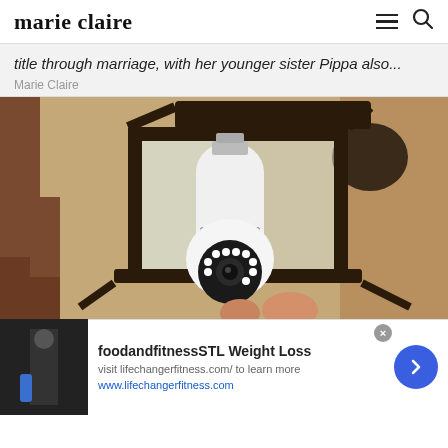marie claire
title through marriage, with her younger sister Pippa also...
Marie Claire
[Figure (photo): A white smart security camera shaped like a light bulb installed inside a black outdoor wall lantern fixture mounted on a textured stucco wall.]
foodandfitnessSTL Weight Loss
visit lifechanger fitness.com/ to learn more
www.lifechangerfitness.com